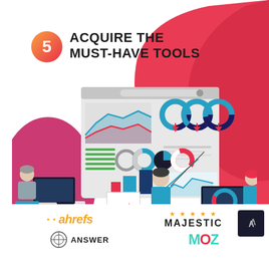5 ACQUIRE THE MUST-HAVE TOOLS
[Figure (illustration): Flat-style illustration of office workers analyzing data dashboards. A woman stands pointing at a large analytics screen showing charts, graphs, and donut charts. Two other workers sit at desks with monitors. Background has red and pink blob shapes.]
[Figure (logo): ahrefs logo in orange italic bold text with dot prefix]
[Figure (logo): Majestic logo with gold stars above bold uppercase MAJESTIC text]
[Figure (logo): Answer The Public logo with circular icon and ANSWER text]
[Figure (logo): Moz logo in teal with red O]